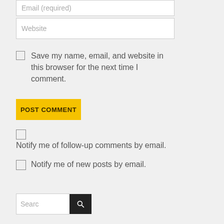Email (required)
Website
Save my name, email, and website in this browser for the next time I comment.
POST COMMENT
Notify me of follow-up comments by email.
Notify me of new posts by email.
Search